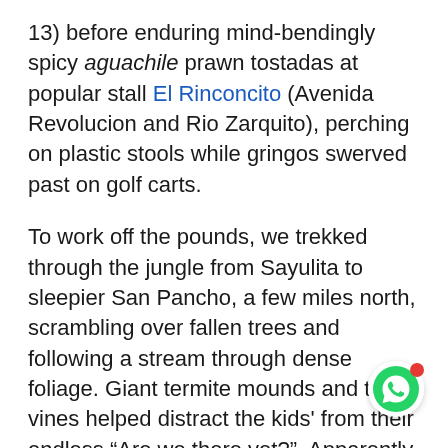13) before enduring mind-bendingly spicy aguachile prawn tostadas at popular stall El Rinconcito (Avenida Revolucion and Rio Zarquito), perching on plastic stools while gringos swerved past on golf carts.
To work off the pounds, we trekked through the jungle from Sayulita to sleepier San Pancho, a few miles north, scrambling over fallen trees and following a stream through dense foliage. Giant termite mounds and thick vines helped distract the kids' from their endless “Are we there yet?”. Apparently we weren't, and after an hour we were somehow back where we started so opted to drive the few miles the next day instead
[Figure (other): WhatsApp chat button icon (green circle with phone/chat icon and red notification dot)]